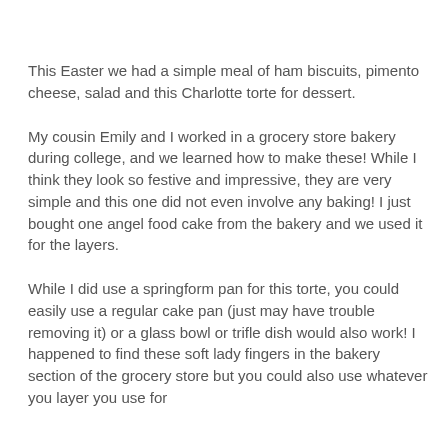This Easter we had a simple meal of ham biscuits, pimento cheese, salad and this Charlotte torte for dessert.
My cousin Emily and I worked in a grocery store bakery during college, and we learned how to make these! While I think they look so festive and impressive, they are very simple and this one did not even involve any baking! I just bought one angel food cake from the bakery and we used it for the layers.
While I did use a springform pan for this torte, you could easily use a regular cake pan (just may have trouble removing it) or a glass bowl or trifle dish would also work! I happened to find these soft lady fingers in the bakery section of the grocery store but you could also use whatever you layer you use for